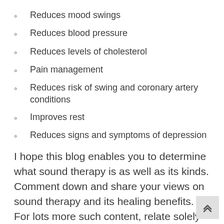Reduces mood swings
Reduces blood pressure
Reduces levels of cholesterol
Pain management
Reduces risk of swing and coronary artery conditions
Improves rest
Reduces signs and symptoms of depression
I hope this blog enables you to determine what sound therapy is as well as its kinds. Comment down and share your views on sound therapy and its healing benefits. For lots more such content, relate solely to united states on all social media marketing platforms.